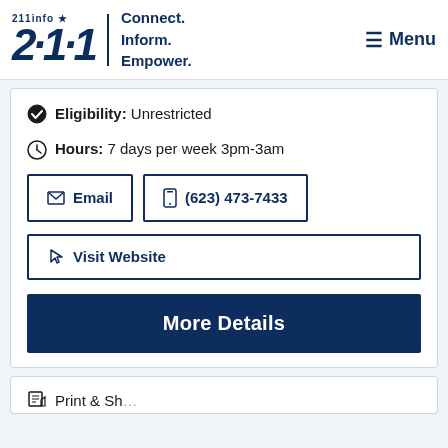[Figure (logo): 211info logo with star and tagline Connect. Inform. Empower. and Menu button]
Eligibility: Unrestricted
Hours: 7 days per week 3pm-3am
Email
(623) 473-7433
Visit Website
More Details
Print & Sh...